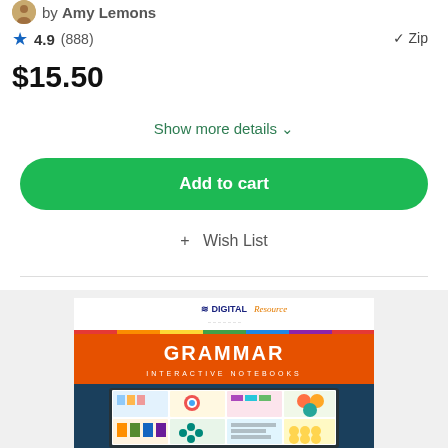by Amy Lemons
4.9 (888)
✓ Zip
$15.50
Show more details ˅
Add to cart
+ Wish List
[Figure (screenshot): Grammar Interactive Notebooks product cover showing Digital Resource label at top, orange background with GRAMMAR INTERACTIVE NOTEBOOKS text, and a laptop displaying colorful educational content panels]